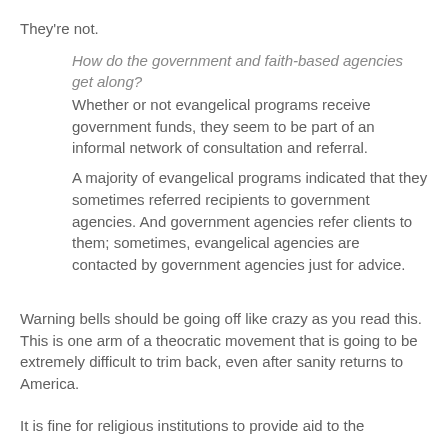They're not.
How do the government and faith-based agencies get along?
Whether or not evangelical programs receive government funds, they seem to be part of an informal network of consultation and referral.
A majority of evangelical programs indicated that they sometimes referred recipients to government agencies. And government agencies refer clients to them; sometimes, evangelical agencies are contacted by government agencies just for advice.
Warning bells should be going off like crazy as you read this. This is one arm of a theocratic movement that is going to be extremely difficult to trim back, even after sanity returns to America.
It is fine for religious institutions to provide aid to the